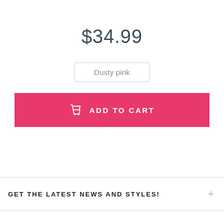$34.99
Dusty pink
ADD TO CART
GET THE LATEST NEWS AND STYLES!
KORANGO